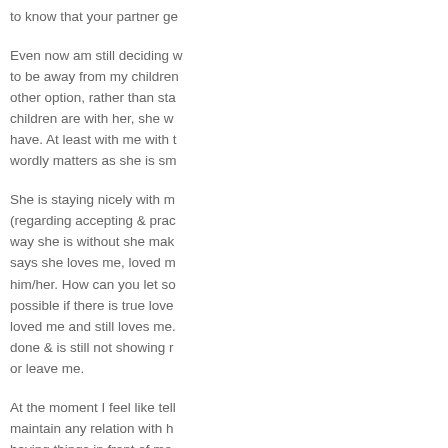to know that your partner ge
Even now am still deciding w to be away from my children other option, rather than sta children are with her, she w have. At least with me with t wordly matters as she is sm
She is staying nicely with m (regarding accepting & prac way she is without she mak says she loves me, loved m him/her. How can you let so possible if there is true love loved me and still loves me. done & is still not showing r or leave me.
At the moment I feel like tell maintain any relation with h having things in front of me. understand what kind of hu person with no self-respect situation, to accept that you left any voids for her to be f have said, Allah knows best
I also fear that if I let her co